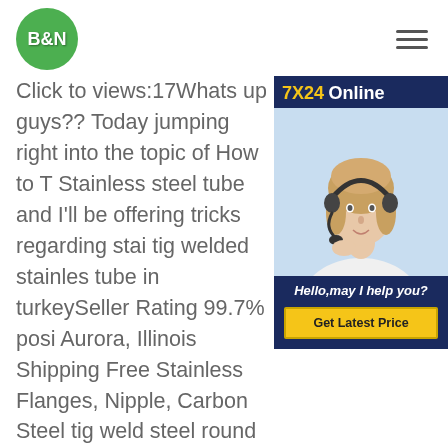[Figure (logo): B&N logo — green circle with white bold text B&N]
Click to views:17Whats up guys?? Today jumping right into the topic of How to Tig Stainless steel tube and I'll be offering tricks regarding stai tig welded stainless tube in turkeySeller Rating 99.7% positive Aurora, Illinois Shipping Free Stainless Flanges, Nipple, Carbon Steel tig welded steel round tube in turkeyStainless Steel 302 303 304 309. 310 321 330 347 403 . 405 409 410 416 420 . 422 430 2205 2304 2507. 13-8 PH VAR, 15-5 PH VAR, 17-4 PH H1025, 17-4 PH H900 tig welded stainless steel round tube in turkeySeller Rating 99.7% positive Location Aurora, Illinois
[Figure (infographic): 7X24 Online customer service widget with photo of woman with headset, Hello may I help you text, and Get Latest Price button]